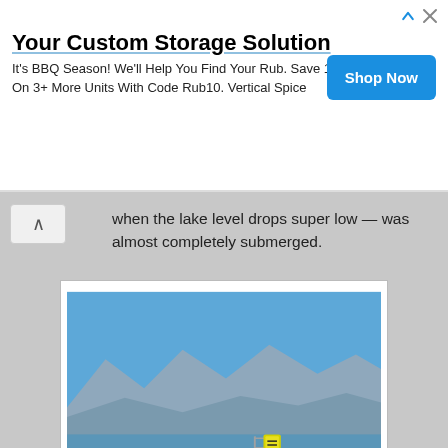[Figure (infographic): Advertisement banner: 'Your Custom Storage Solution' - It's BBQ Season! We'll Help You Find Your Rub. Save 10% On 3+ More Units With Code Rub10. Vertical Spice. Shop Now button in blue.]
when the lake level drops super low — was almost completely submerged.
[Figure (photo): Outdoor lake scene showing a floating dock/boat ramp partially submerged in water. Sandy shoreline in foreground, green shrubs in the water, mountains and blue sky in the background. A yellow warning sign is visible on the dock.]
Not only did you have to walk uphill onto the floating dock, the entire boat ramp was under